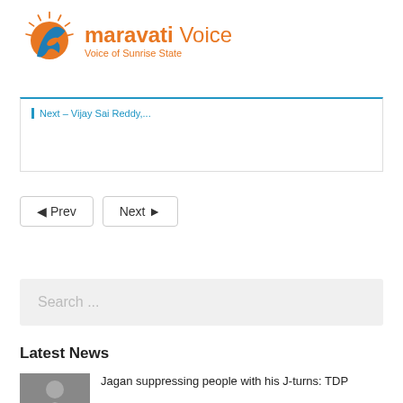[Figure (logo): Amaravati Voice logo with orange sun and blue bird graphic]
Next → Vijay Sai Reddy,...
◀ Prev   Next ▶
Search ...
Latest News
Jagan suppressing people with his J-turns: TDP